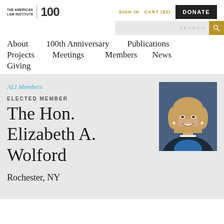[Figure (logo): The American Law Institute logo with '100' text]
SIGN IN  CART ($0)  DONATE
SEARCH
About  100th Anniversary  Publications  Projects  Meetings  Members  News  Giving
ALI Members
ELECTED MEMBER
The Hon. Elizabeth A. Wolford
[Figure (photo): Portrait photo of The Hon. Elizabeth A. Wolford, a woman with shoulder-length blonde hair, wearing a dark blazer and blue top, smiling]
Rochester, NY